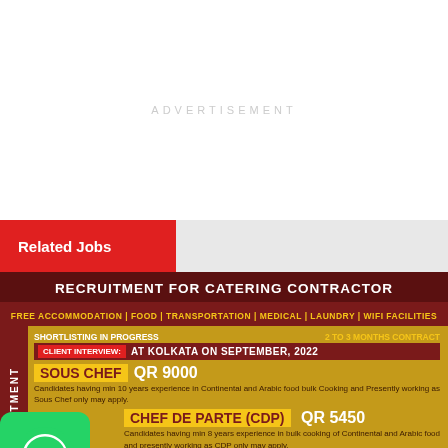ADVERTISEMENT
Related Jobs
[Figure (infographic): Recruitment advertisement for catering contractor positions including Sous Chef QR 9000, Chef De Parte (CDP) QR 5450, and Commi-I QR 3000. Client interview at Kolkata on September 2022. Free accommodation, food, transportation, medical, laundry, wifi facilities. 2 to 3 months contract.]
[Figure (logo): WhatsApp icon - green rounded square with white phone handset logo]